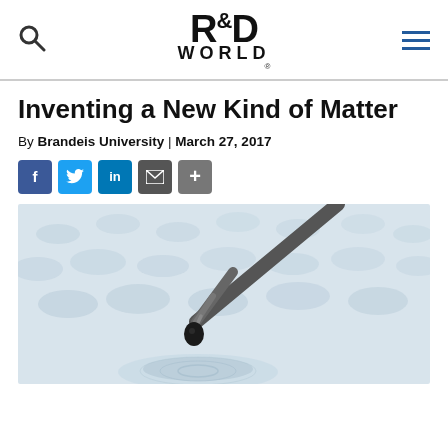R&D WORLD
Inventing a New Kind of Matter
By Brandeis University | March 27, 2017
[Figure (other): Social share buttons: Facebook, Twitter, LinkedIn, Email, Share]
[Figure (photo): Close-up photo of a pipette tip with a dark droplet suspended above a laboratory background with blurred circular well patterns, in cool blue-grey tones.]